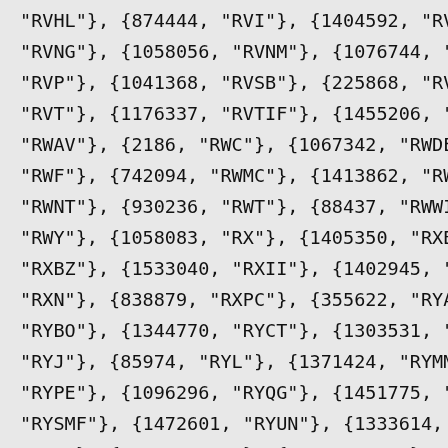"RVHL"}, {874444, "RVI"}, {1404592, "RVM
"RVNG"}, {1058056, "RVNM"}, {1076744, "R
"RVP"}, {1041368, "RVSB"}, {225868, "RVS
"RVT"}, {1176337, "RVTIF"}, {1455206, "R
"RWAV"}, {2186, "RWC"}, {1067342, "RWDE"
"RWF"}, {742094, "RWMC"}, {1413862, "RWM
"RWNT"}, {930236, "RWT"}, {88437, "RWWI"
"RWY"}, {1058083, "RX"}, {1405350, "RXBD
"RXBZ"}, {1533040, "RXII"}, {1402945, "R
"RXN"}, {838879, "RXPC"}, {355622, "RYAN
"RYBO"}, {1344770, "RYCT"}, {1303531, "R
"RYJ"}, {85974, "RYL"}, {1371424, "RYMM"
"RYPE"}, {1096296, "RYQG"}, {1451775, "R
"RYSMF"}, {1472601, "RYUN"}, {1333614, "
"RZT"}, {101830, "S"}, {319256, "S"}, {1
"SAAX"}, {1070380, "SABA"}, {1490224, "S